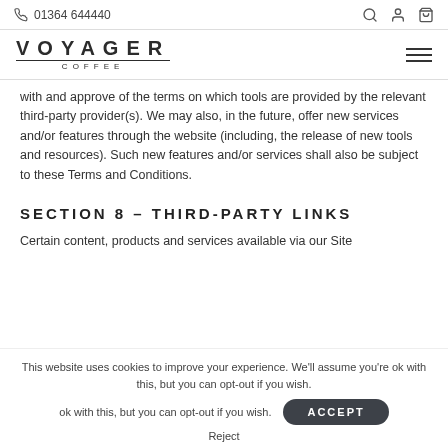01364 644440
with and approve of the terms on which tools are provided by the relevant third-party provider(s). We may also, in the future, offer new services and/or features through the website (including, the release of new tools and resources). Such new features and/or services shall also be subject to these Terms and Conditions.
SECTION 8 – THIRD-PARTY LINKS
Certain content, products and services available via our Site
This website uses cookies to improve your experience. We'll assume you're ok with this, but you can opt-out if you wish.
ACCEPT
Reject